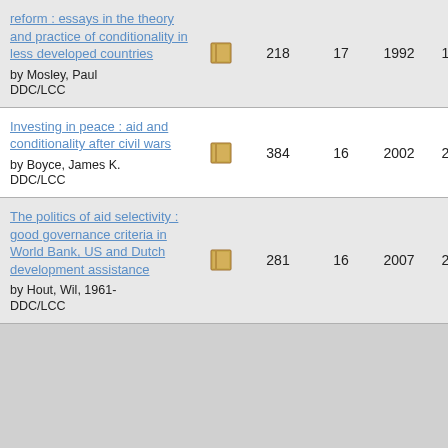| Title/Author | Icon | Pages | Num | Year1 | Year2 |
| --- | --- | --- | --- | --- | --- |
| reform : essays in the theory and practice of conditionality in less developed countries by Mosley, Paul DDC/LCC | book | 218 | 17 | 1992 | 1992 |
| Investing in peace : aid and conditionality after civil wars by Boyce, James K. DDC/LCC | book | 384 | 16 | 2002 | 2017 |
| The politics of aid selectivity : good governance criteria in World Bank, US and Dutch development assistance by Hout, Wil, 1961- DDC/LCC | book | 281 | 16 | 2007 | 2014 |